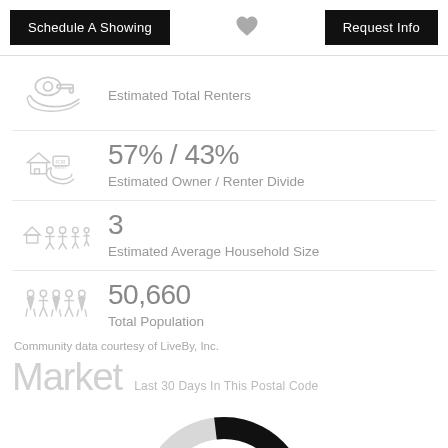Schedule A Showing | [heart] | Request Info
Estimated Total Renters
57% / 43%
Estimated Owner / Renter Divide
3
Estimated Average Household Size
50,660
Total Population
Community data courtesy of LiveBy, Inc.
Market
Last 30 Days In This Postal Code
[Figure (donut-chart): Partial donut chart, mostly light gray with a black arc segment, cut off at bottom of page]